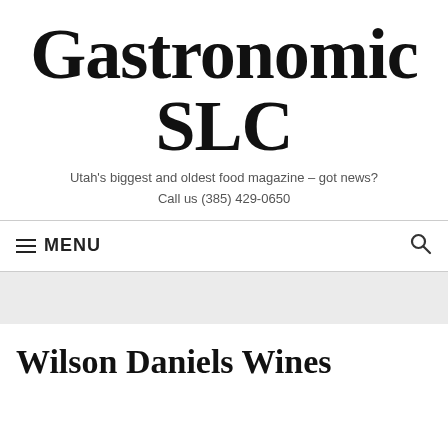Gastronomic SLC
Utah's biggest and oldest food magazine – got news?
Call us (385) 429-0650
≡ MENU
Wilson Daniels Wines